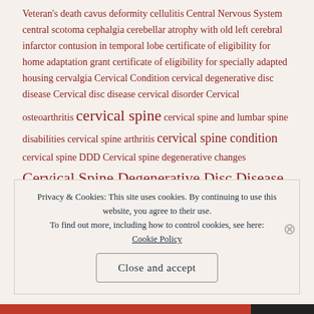Veteran's death cavus deformity cellulitis Central Nervous System central scotoma cephalgia cerebellar atrophy with old left cerebral infarctor contusion in temporal lobe certificate of eligibility for home adaptation grant certificate of eligibility for specially adapted housing cervalgia Cervical Condition cervical degenerative disc disease Cervical disc disease cervical disorder Cervical osteoarthritis cervical spine cervical spine and lumbar spine disabilities cervical spine arthritis cervical spine condition cervical spine DDD Cervical spine degenerative changes Cervical Spine Degenerative Disc Disease cervical spine degenerative disc disease (DDD) cervical spine degenerative joint disease (DJD)
Privacy & Cookies: This site uses cookies. By continuing to use this website, you agree to their use. To find out more, including how to control cookies, see here: Cookie Policy
Close and accept